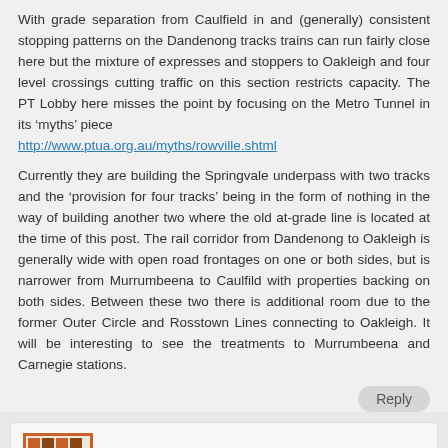With grade separation from Caulfield in and (generally) consistent stopping patterns on the Dandenong tracks trains can run fairly close here but the mixture of expresses and stoppers to Oakleigh and four level crossings cutting traffic on this section restricts capacity. The PT Lobby here misses the point by focusing on the Metro Tunnel in its ‘myths’ piece http://www.ptua.org.au/myths/rowville.shtml
Currently they are building the Springvale underpass with two tracks and the ‘provision for four tracks’ being in the form of nothing in the way of building another two where the old at-grade line is located at the time of this post. The rail corridor from Dandenong to Oakleigh is generally wide with open road frontages on one or both sides, but is narrower from Murrumbeena to Caulfild with properties backing on both sides. Between these two there is additional room due to the former Outer Circle and Rosstown Lines connecting to Oakleigh. It will be interesting to see the treatments to Murrumbeena and Carnegie stations.
Reply
[Figure (illustration): Avatar icon for user mich - orange and brown pixelated grid pattern]
mich says:
March 8, 2014 at 5:39 pm
Wasn't the plan to roof over the tracks and build apartments above them,